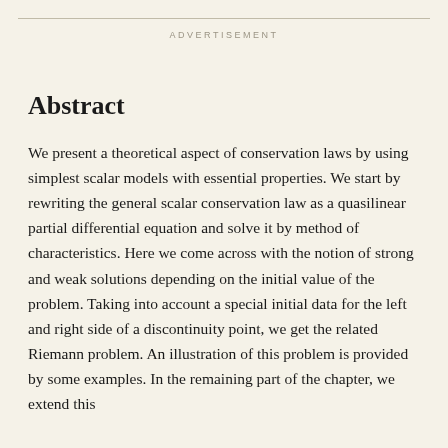ADVERTISEMENT
Abstract
We present a theoretical aspect of conservation laws by using simplest scalar models with essential properties. We start by rewriting the general scalar conservation law as a quasilinear partial differential equation and solve it by method of characteristics. Here we come across with the notion of strong and weak solutions depending on the initial value of the problem. Taking into account a special initial data for the left and right side of a discontinuity point, we get the related Riemann problem. An illustration of this problem is provided by some examples. In the remaining part of the chapter, we extend this